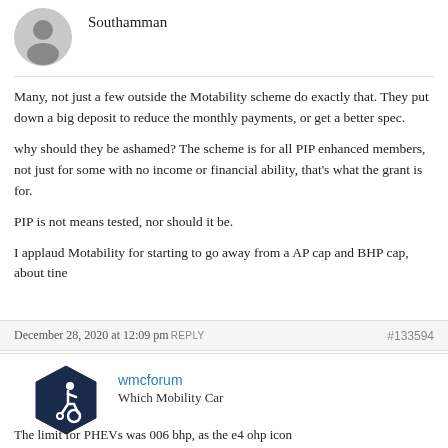Southamman
Many, not just a few outside the Motability scheme do exactly that. They put down a big deposit to reduce the monthly payments, or get a better spec.

why should they be ashamed? The scheme is for all PIP enhanced members, not just for some with no income or financial ability, that's what the grant is for.

PIP is not means tested, nor should it be.

I applaud Motability for starting to go away from a AP cap and BHP cap, about tine
December 28, 2020 at 12:09 pm REPLY  #133594
wmcforum
Which Mobility Car
The limit for PHEVs was 006 bhp, as the e4 ohp icon